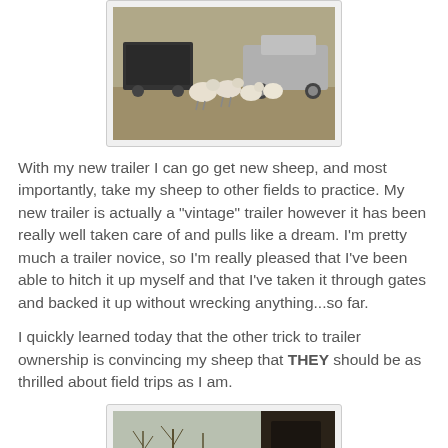[Figure (photo): Sheep standing in a field near a black trailer and a silver pickup truck on a brown grassy field.]
With my new trailer I can go get new sheep, and most importantly, take my sheep to other fields to practice. My new trailer is actually a "vintage" trailer however it has been really well taken care of and pulls like a dream. I'm pretty much a trailer novice, so I'm really pleased that I've been able to hitch it up myself and that I've taken it through gates and backed it up without wrecking anything...so far.
I quickly learned today that the other trick to trailer ownership is convincing my sheep that THEY should be as thrilled about field trips as I am.
[Figure (photo): View from inside a trailer looking out through a window at a bare-tree landscape, with dark trailer interior visible.]